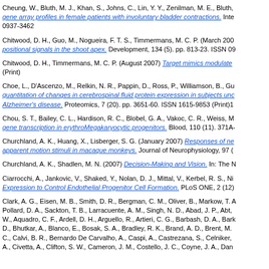Cheung, W., Bluth, M. J., Khan, S., Johns, C., Lin, Y. Y., Zenilman, M. E., Bluth, gene array profiles in female patients with involuntary bladder contractions. International 0937-3462
Chitwood, D. H., Guo, M., Nogueira, F. T. S., Timmermans, M. C. P. (March 2007) positional signals in the shoot apex. Development, 134 (5). pp. 813-23. ISSN 09
Chitwood, D. H., Timmermans, M. C. P. (August 2007) Target mimics modulate (Print)
Choe, L., D'Ascenzo, M., Relkin, N. R., Pappin, D., Ross, P., Williamson, B., Gu quantitation of changes in cerebrospinal fluid protein expression in subjects undergoing Alzheimer's disease. Proteomics, 7 (20). pp. 3651-60. ISSN 1615-9853 (Print)1
Chou, S. T., Bailey, C. L., Hardison, R. C., Blobel, G. A., Vakoc, C. R., Weiss, M gene transcription in erythroMegakaryocytic progenitors. Blood, 110 (11). 371A-
Churchland, A. K., Huang, X., Lisberger, S. G. (January 2007) Responses of neurons apparent motion stimuli in macaque monkeys. Journal of Neurophysiology, 97 (
Churchland, A. K., Shadlen, M. N. (2007) Decision-Making and Vision. In: The N
Ciarrocchi, A., Jankovic, V., Shaked, Y., Nolan, D. J., Mittal, V., Kerbel, R. S., Ni Expression to Control Endothelial Progenitor Cell Formation. PLoS ONE, 2 (12)
Clark, A. G., Eisen, M. B., Smith, D. R., Bergman, C. M., Oliver, B., Markow, T. A., Pollard, D. A., Sackton, T. B., Larracuente, A. M., Singh, N. D., Abad, J. P., Abt, W., Aquadro, C. F., Ardell, D. H., Arguello, R., Artieri, C. G., Barbash, D. A., Bark D., Bhutkar, A., Blanco, E., Bosak, S. A., Bradley, R. K., Brand, A. D., Brent, M. C., Calvi, B. R., Bernardo De Carvalho, A., Caspi, A., Castrezana, S., Celniker, A., Civetta, A., Clifton, S. W., Cameron, J. M., Costello, J. C., Coyne, J. A., Dan